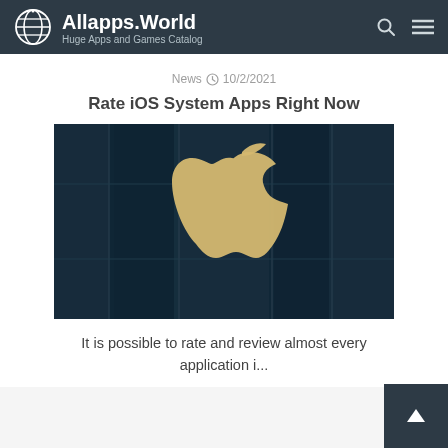Allapps.World — Huge Apps and Games Catalog
News  10/2/2021
Rate iOS System Apps Right Now
[Figure (photo): Apple logo illuminated in gold/yellow on a dark teal glass storefront with architectural columns visible in the background]
It is possible to rate and review almost every application i...